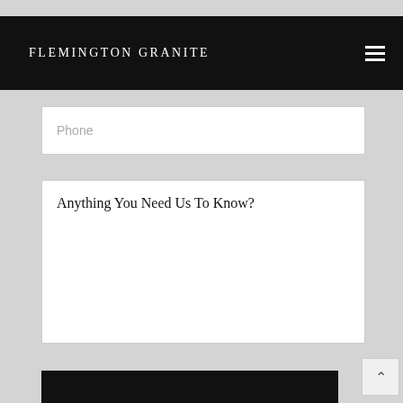FLEMINGTON GRANITE
Phone
Anything You Need Us To Know?
REQUEST A CALL